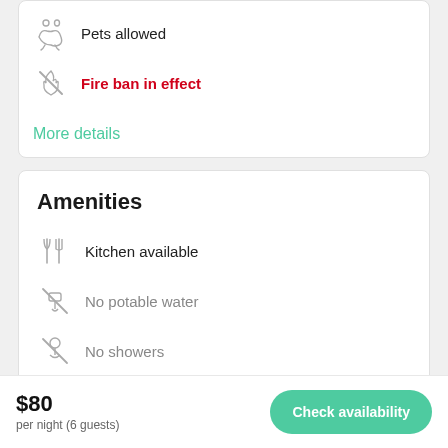Pets allowed
Fire ban in effect
More details
Amenities
Kitchen available
No potable water
No showers
No picnic table
No wifi
$80
per night (6 guests)
Check availability